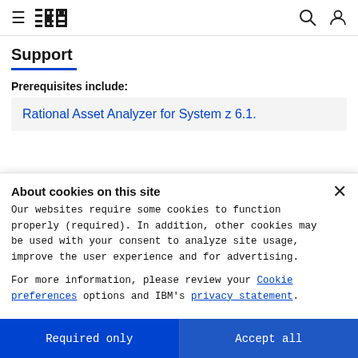IBM Support
Support
Prerequisites include:
Rational Asset Analyzer for System z 6.1.
About cookies on this site
Our websites require some cookies to function properly (required). In addition, other cookies may be used with your consent to analyze site usage, improve the user experience and for advertising.
For more information, please review your Cookie preferences options and IBM's privacy statement.
Required only
Accept all